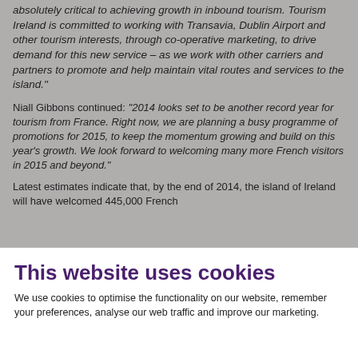absolutely critical to achieving growth in inbound tourism. Tourism Ireland is committed to working with Transavia, Dublin Airport and other tourism interests, through co-operative marketing, to drive demand for this new service – as we work with other carriers and partners to promote and help maintain vital routes and services to the island."
Niall Gibbons continued: "2014 looks set to be another record year for tourism from France. Right now, we are planning a busy programme of promotions for 2015, to keep the momentum growing and build on this year's growth. We look forward to welcoming many more French visitors in 2015 and beyond."
Latest estimates indicate that, by the end of 2014, the island of Ireland will have welcomed 445,000 French
This website uses cookies
We use cookies to optimise the functionality on our website, remember your preferences, analyse our web traffic and improve our marketing.